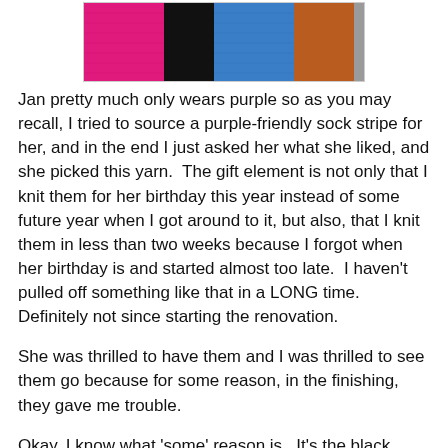[Figure (photo): Close-up photo of colorful knitted sock stripes in pink/magenta, black, blue, and orange/brown colors on a gray background]
Jan pretty much only wears purple so as you may recall, I tried to source a purple-friendly sock stripe for her, and in the end I just asked her what she liked, and she picked this yarn.  The gift element is not only that I knit them for her birthday this year instead of some future year when I got around to it, but also, that I knit them in less than two weeks because I forgot when her birthday is and started almost too late.  I haven't pulled off something like that in a LONG time.  Definitely not since starting the renovation.
She was thrilled to have them and I was thrilled to see them go because for some reason, in the finishing, they gave me trouble.
Okay, I know what 'some' reason is.  It's the black stripe and the fact that I used that colour as my border for the cast on. (click here for an explanation of how I cast on a stripey sock for maximum potential symmetry.)  I love black and wear it a